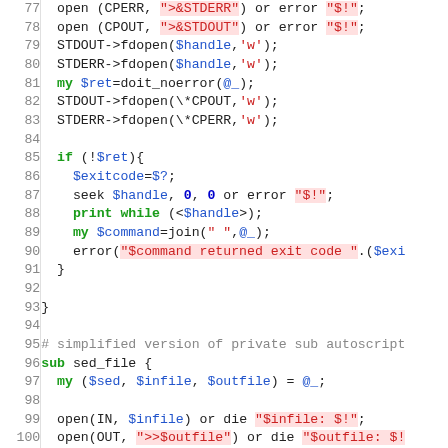[Figure (screenshot): Syntax-highlighted Perl source code, lines 77–106, showing file handle operations, a conditional block, and two subroutine definitions (sed_file, read_package_desc).]